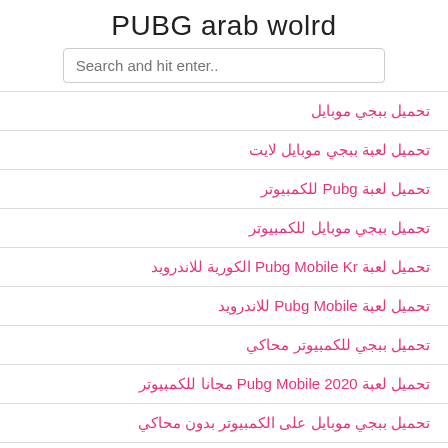PUBG arab wolrd
Search and hit enter..
تحميل ببجي موبايل
تحميل لعبة ببجي موبايل لايت
تحميل لعبة Pubg للكمبيوتر
تحميل ببجي موبايل للكمبيوتر
تحميل لعبة Pubg Mobile Kr الكورية للاندرويد
تحميل لعبة Pubg Mobile للاندرويد
تحميل ببجي للكمبيوتر محاكي
تحميل لعبة Pubg Mobile 2020 مجانا للكمبيوتر
تحميل ببجي موبايل على الكمبيوتر بدون محاكي
تحميل ببجي للكمبيوتر الضعيف